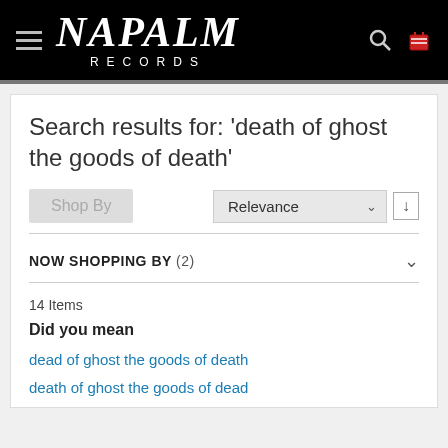NAPALM RECORDS
Search results for: 'death of ghost the goods of death'
Shop By | Relevance
NOW SHOPPING BY (2)
14 Items
Did you mean
dead of ghost the goods of death
death of ghost the goods of dead